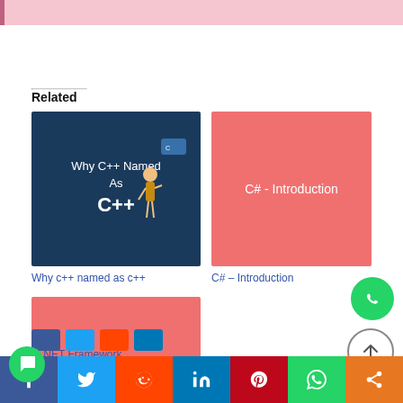[Figure (illustration): Pink banner at top of page]
Related
[Figure (illustration): Thumbnail image for 'Why C++ Named As C++' article showing teal background with C++ text and a person pointing at a board]
Why c++ named as c++
[Figure (illustration): Thumbnail image for 'C# - Introduction' article with salmon/coral background]
C# – Introduction
[Figure (illustration): Thumbnail image for 'C# - .NET Framework' article with salmon/coral background]
– .NET Framework
[Figure (logo): WhatsApp floating button (green circle with phone icon)]
[Figure (illustration): Scroll to top button (circle with up arrow)]
[Figure (illustration): Chat bubble floating button (green circle)]
[Figure (illustration): Social media share bar at bottom: Facebook, Twitter, Reddit, LinkedIn, Pinterest, WhatsApp, Share]